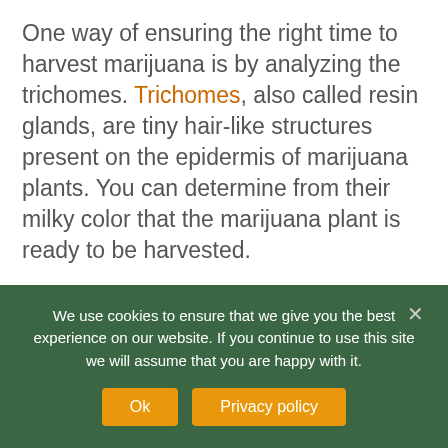One way of ensuring the right time to harvest marijuana is by analyzing the trichomes. Trichomes, also called resin glands, are tiny hair-like structures present on the epidermis of marijuana plants. You can determine from their milky color that the marijuana plant is ready to be harvested.

Only the best trichome microscope can help you examine the color of trichomes which...
We use cookies to ensure that we give you the best experience on our website. If you continue to use this site we will assume that you are happy with it.